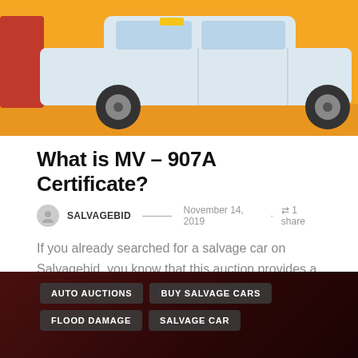[Figure (illustration): Illustration of a white car on an orange/yellow background, partially visible at the top of the page]
What is MV – 907A Certificate?
SALVAGEBID — November 14, 2019 · 1 share
If you already searched for a salvage car on Salvagebid, you know that this auction provides a lot of information about vehicles, their titles, terms of selling, and more. Often...
VIEW POST
[Figure (photo): Dark red/maroon background image with category tag pills: AUTO AUCTIONS, BUY SALVAGE CARS, FLOOD DAMAGE, SALVAGE CAR]